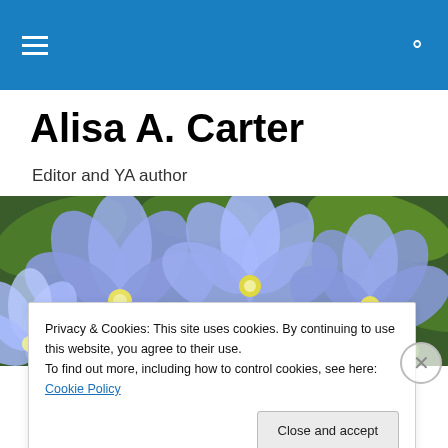Navigation bar with hamburger menu and search icon
Alisa A. Carter
Editor and YA author
[Figure (photo): Close-up photo of purple/blue clematis flowers with green leaves]
Privacy & Cookies: This site uses cookies. By continuing to use this website, you agree to their use.
To find out more, including how to control cookies, see here: Cookie Policy
Close and accept